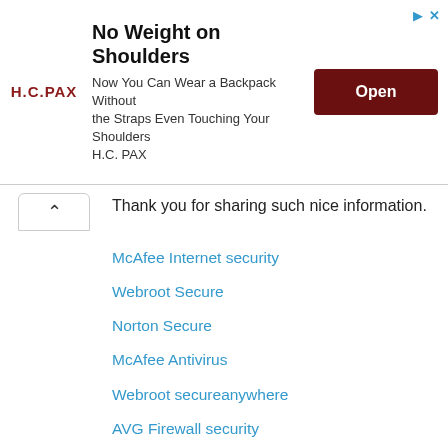[Figure (other): Advertisement banner for H.C. PAX backpack product. Shows logo text 'H.C.PAX', headline 'No Weight on Shoulders', body text 'Now You Can Wear a Backpack Without the Straps Even Touching Your Shoulders H.C. PAX', and a dark red 'Open' button.]
Thank you for sharing such nice information.
McAfee Internet security
Webroot Secure
Norton Secure
McAfee Antivirus
Webroot secureanywhere
AVG Firewall security
McAfee Total Security
Reply